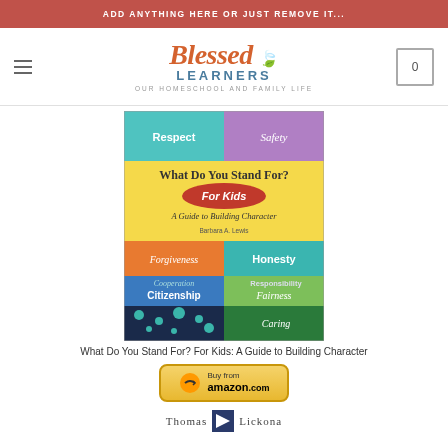ADD ANYTHING HERE OR JUST REMOVE IT...
[Figure (logo): Blessed Learners logo with tagline 'Our Homeschool and Family Life']
[Figure (photo): Book cover: 'What Do You Stand For? For Kids: A Guide to Building Character' by Barbara A. Lewis, featuring colorful panels with character words: Respect, Safety, Forgiveness, Honesty, Citizenship, Fairness, Cooperation, Responsibility, Caring]
What Do You Stand For? For Kids: A Guide to Building Character
[Figure (other): Buy from amazon.com button with yellow gradient background]
[Figure (logo): Thomas Lickona logo/name]